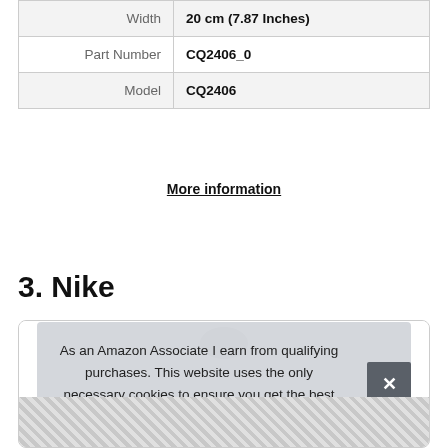| Width | 20 cm (7.87 Inches) |
| Part Number | CQ2406_0 |
| Model | CQ2406 |
More information
3. Nike
As an Amazon Associate I earn from qualifying purchases. This website uses the only necessary cookies to ensure you get the best experience on our website. More information